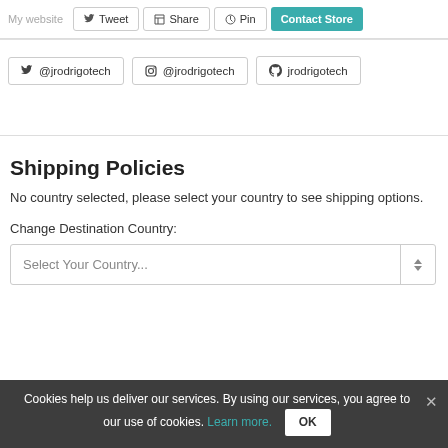My website  Tweet  Share  Pin  Contact Store
@jrodrigotech  @jrodrigotech  jrodrigotech
Shipping Policies
No country selected, please select your country to see shipping options.
Change Destination Country:
Select Your Country...
Cookies help us deliver our services. By using our services, you agree to our use of cookies. Learn more.  OK